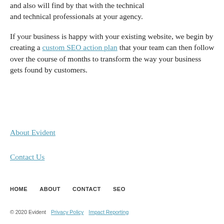and also will find by that with the technical and technical professionals at your agency.
If your business is happy with your existing website, we begin by creating a custom SEO action plan that your team can then follow over the course of months to transform the way your business gets found by customers.
About Evident
Contact Us
HOME   ABOUT   CONTACT   SEO
© 2020 Evident    Privacy Policy    Impact Reporting